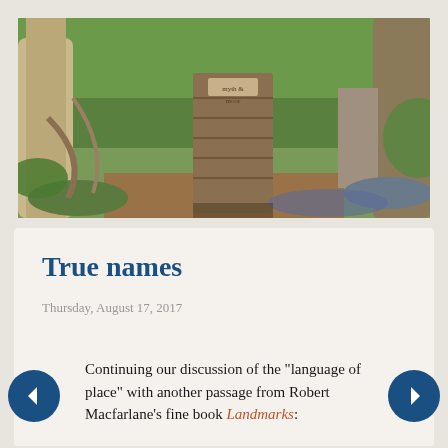[Figure (photo): A woodland scene with a wooden gate set between two large trees, surrounded by green foliage, ivy, and bluebells on a dirt path.]
True names
Thursday, August 17, 2017
Continuing our discussion of the "language of place" with another passage from Robert Macfarlane's fine book Landmarks: